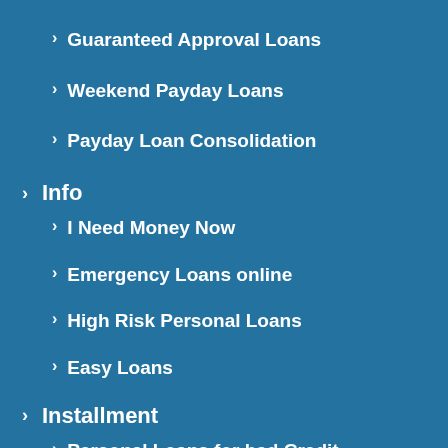Guaranteed Approval Loans
Weekend Payday Loans
Payday Loan Consolidation
Info
I Need Money Now
Emergency Loans online
High Risk Personal Loans
Easy Loans
Installment
Personal Loans for bad Credit Online
Installment Loan Direct